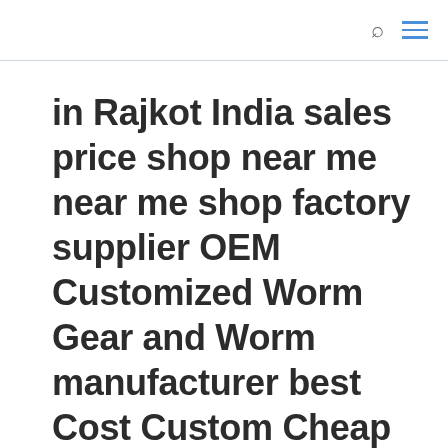🔍 ≡
in Rajkot India sales price shop near me near me shop factory supplier OEM Customized Worm Gear and Worm manufacturer best Cost Custom Cheap wholesaler
by ep | Oct 26, 2020 | Blog